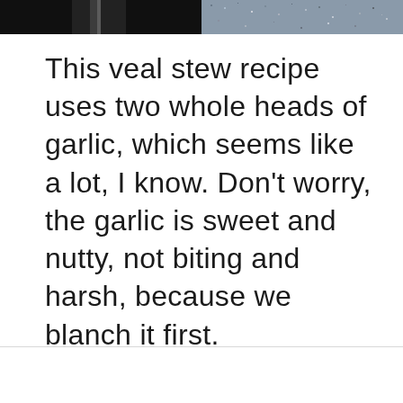[Figure (photo): Two partial food/cooking photos side by side at top of page — left side is dark/black, right side shows a grainy/salted surface texture]
This veal stew recipe uses two whole heads of garlic, which seems like a lot, I know. Don't worry, the garlic is sweet and nutty, not biting and harsh, because we blanch it first.